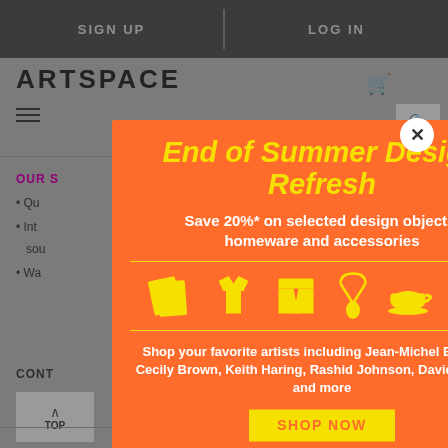SIGN UP | LOG IN
End of Summer Design Refresh
Save 20%* on selected design objects, homeware and accessories
[Figure (illustration): Yellow icons of design objects: book/papers, t-shirt, shorts, necklace/pendant, teacup, tote bag]
Shop your favorite artists including Jean-Michel Basquiat, Cecily Brown, Keith Haring, Rashid Johnson, David Shrigley and more
SHOP NOW
*Sale ends Tuesday September 6, 2022